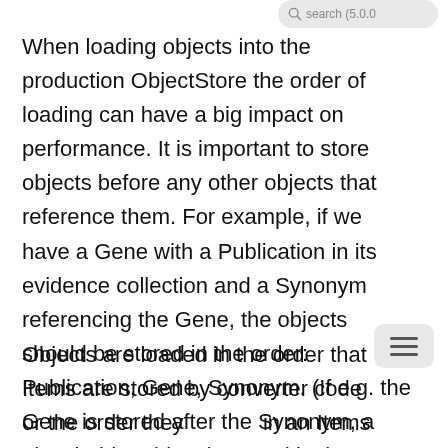When loading objects into the production ObjectStore the order of loading can have a big impact on performance. It is important to store objects before any other objects that reference them. For example, if we have a Gene with a Publication in its evidence collection and a Synonym referencing the Gene, the objects should be stored in the order: Publication, Gene, Synonym. (If e.g. the Gene is stored after the Synonym, a placeholder object is stored in the Gene's place which is later replaced by the real Gene. This takes time).
Objects are loaded in the order that Items are stored by converter code or the order they in an Items XML file. When Items are stored into the items database (during the build or using ant